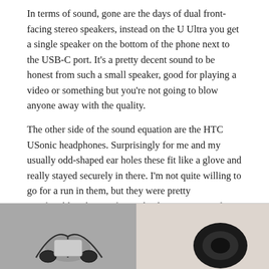In terms of sound, gone are the days of dual front-facing stereo speakers, instead on the U Ultra you get a single speaker on the bottom of the phone next to the USB-C port. It's a pretty decent sound to be honest from such a small speaker, good for playing a video or something but you're not going to blow anyone away with the quality.
The other side of the sound equation are the HTC USonic headphones. Surprisingly for me and my usually odd-shaped ear holes these fit like a glove and really stayed securely in there. I'm not quite willing to go for a run in them, but they were pretty comfortable. The comfort is thanks to an array of rubber tips that come in the box, which means you can size up your ear canals for the best fit.
[Figure (photo): Two side-by-side photos of HTC USonic headphones; left image shows black earphones with cables coiled on a gray background, right image shows a close-up of an earbud on a light background.]